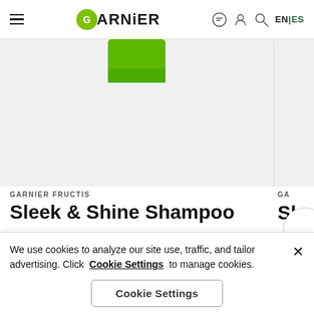Garnier — EN|ES navigation header
[Figure (photo): Green Garnier Fructis Sleek & Shine Shampoo bottle top visible against light grey background, partially cropped]
GARNIER FRUCTIS
Sleek & Shine Shampoo
$4.49 MORE
We use cookies to analyze our site use, traffic, and tailor advertising. Click Cookie Settings to manage cookies.
Cookie Settings